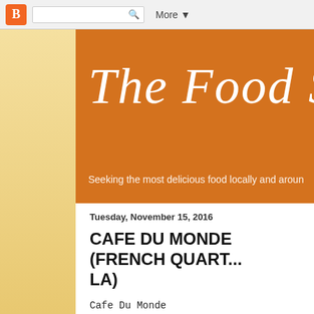[Figure (screenshot): Blogger toolbar with orange B logo, search box, and More dropdown]
[Figure (illustration): Orange banner header with cursive white text 'The Food See...' and subtitle 'Seeking the most delicious food locally and around...']
Tuesday, November 15, 2016
CAFE DU MONDE (FRENCH QUART... LA)
Cafe Du Monde
French Market
800 Decatur St
New Orleans, LA 70116